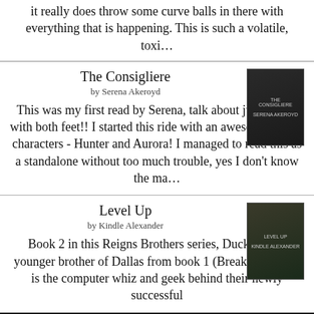it really does throw some curve balls in there with everything that is happening. This is such a volatile, toxi...
The Consigliere
by Serena Akeroyd
[Figure (photo): Book cover for The Consigliere by Serena Akeroyd showing a man in dark clothing]
This was my first read by Serena, talk about jumping in with both feet!! I started this ride with an awesome pair of characters - Hunter and Aurora! I managed to read this as a standalone without too much trouble, yes I don't know the ma...
Level Up
by Kindle Alexander
[Figure (photo): Book cover for Level Up by Kindle Alexander showing a man outdoors]
Book 2 in this Reigns Brothers series, Ducky is the younger brother of Dallas from book 1 (Breakaway) - he is the computer whiz and geek behind their newly successful